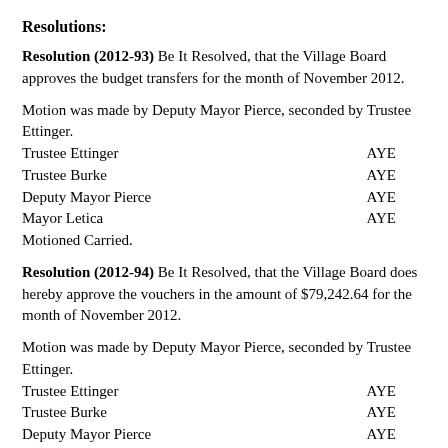Resolutions:
Resolution (2012-93) Be It Resolved, that the Village Board approves the budget transfers for the month of November 2012.
Motion was made by Deputy Mayor Pierce, seconded by Trustee Ettinger.
Trustee Ettinger   AYE
Trustee Burke   AYE
Deputy Mayor Pierce   AYE
Mayor Letica   AYE
Motioned Carried.
Resolution (2012-94) Be It Resolved, that the Village Board does hereby approve the vouchers in the amount of $79,242.64 for the month of November 2012.
Motion was made by Deputy Mayor Pierce, seconded by Trustee Ettinger.
Trustee Ettinger   AYE
Trustee Burke   AYE
Deputy Mayor Pierce   AYE
Mayor Letica   AYE
Motioned Carried.